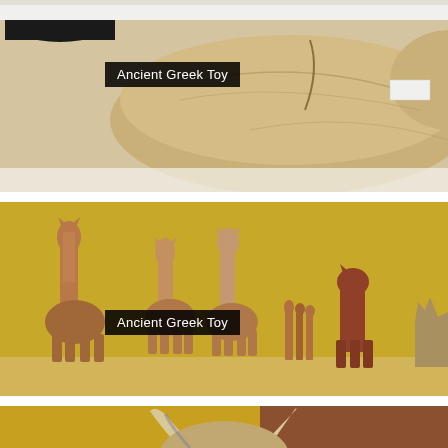[Figure (photo): Close-up of an ancient Greek toy animal figurine made of light tan/beige material, appears to be a large reclining animal, shot against a white museum background with a Greek pottery vessel visible at top left.]
Ancient Greek Toy
[Figure (photo): Museum display of multiple ancient Greek toy animal figurines arranged on a shelf against a golden/ochre wall. Clay figurines of horses and other animals in terracotta color.]
Ancient Greek Toy
[Figure (photo): Close-up of an ancient Greek toy animal head with prominent horns, appears to be a bull or similar horned animal, with blue-gray and cream coloring, against a golden-brown background.]